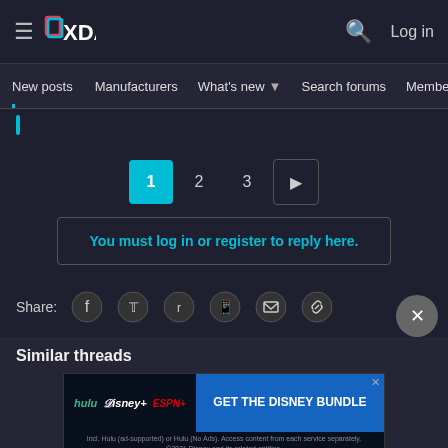[Figure (screenshot): XDA Developers forum website header with logo, hamburger menu, search icon, and Log in link]
New posts  Manufacturers  What's new  Search forums  Membe  >
1  2  3  ▶
You must log in or register to reply here.
Share:
Similar threads
[Figure (screenshot): Disney Bundle advertisement with Hulu, Disney+, and ESPN+ logos. Text: GET THE DISNEY BUNDLE. Incl. Hulu (ad-supported) or Hulu (No Ads). Access content from each service separately. ©2021 Disney and its related entities.]
Replies 8K  Views 501K  Threads/Forums Results  Apr 2, 2013